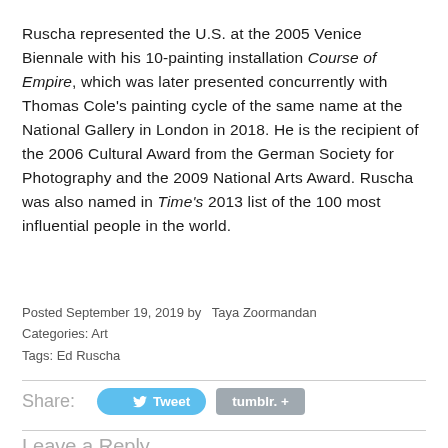Ruscha represented the U.S. at the 2005 Venice Biennale with his 10-painting installation Course of Empire, which was later presented concurrently with Thomas Cole's painting cycle of the same name at the National Gallery in London in 2018. He is the recipient of the 2006 Cultural Award from the German Society for Photography and the 2009 National Arts Award. Ruscha was also named in Time's 2013 list of the 100 most influential people in the world.
Posted September 19, 2019 by  Taya Zoormandan
Categories: Art
Tags: Ed Ruscha
Share:  Tweet  tumblr. +
Leave a Reply